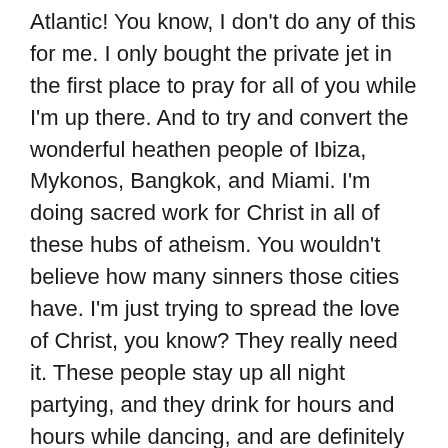Atlantic! You know, I don't do any of this for me. I only bought the private jet in the first place to pray for all of you while I'm up there. And to try and convert the wonderful heathen people of Ibiza, Mykonos, Bangkok, and Miami. I'm doing sacred work for Christ in all of these hubs of atheism. You wouldn't believe how many sinners those cities have. I'm just trying to spread the love of Christ, you know? They really need it. These people stay up all night partying, and they drink for hours and hours while dancing, and are definitely not saving room for Jesus while they grind on the dance floor. The music is loud enough to disturb God Himself, and the girls all take their bikini tops off after about 3am, and, oh my Lord, the drugs are just unbelievable. They're spectacular. The highs will last days at a time. But I can't do my missionary work if you all stop donating. I won't be able to afford to get to Mykonos at all! but there is fifteenth incredible God-sent...